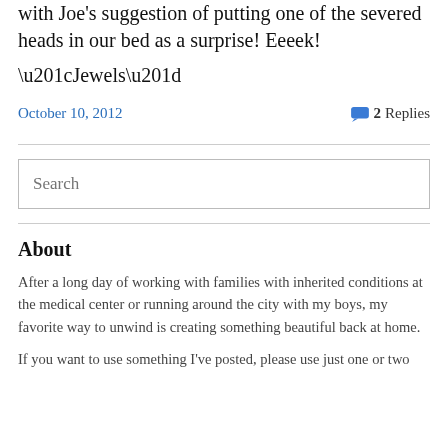with Joe's suggestion of putting one of the severed heads in our bed as a surprise! Eeeek!
“Jewels”
October 10, 2012
2 Replies
[Figure (other): Search input box]
About
After a long day of working with families with inherited conditions at the medical center or running around the city with my boys, my favorite way to unwind is creating something beautiful back at home.
If you want to use something I've posted, please use just one or two